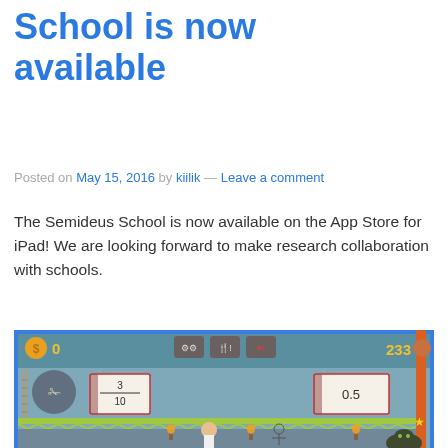School is now available
Posted on May 15, 2016 by kiilik — Leave a comment
The Semideus School is now available on the App Store for iPad! We are looking forward to make research collaboration with schools.
[Figure (screenshot): Screenshot of the Semideus School iPad game showing a platformer game with a character, fraction cards showing 3/10 and 0.5, score of 233, and a cave-like environment with torches and a cat monster.]